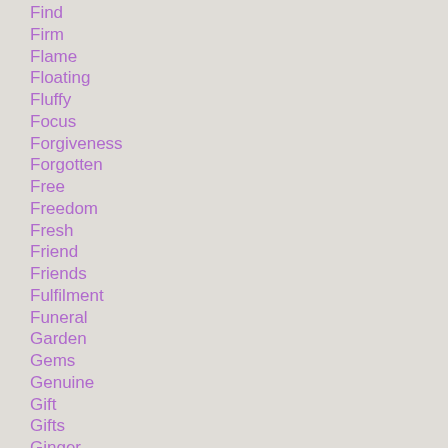Find
Firm
Flame
Floating
Fluffy
Focus
Forgiveness
Forgotten
Free
Freedom
Fresh
Friend
Friends
Fulfilment
Funeral
Garden
Gems
Genuine
Gift
Gifts
Ginger